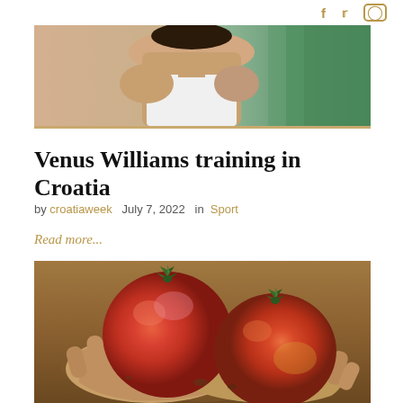social icons: f (Facebook), bird (Twitter), circle (Instagram)
[Figure (photo): Cropped photo of Venus Williams on a tennis court, showing upper body in white top, green court background]
Venus Williams training in Croatia
by croatiaweek  July 7, 2022  in  Sport
Read more...
[Figure (photo): Hands holding two large red tomatoes with soil visible, earthy background]